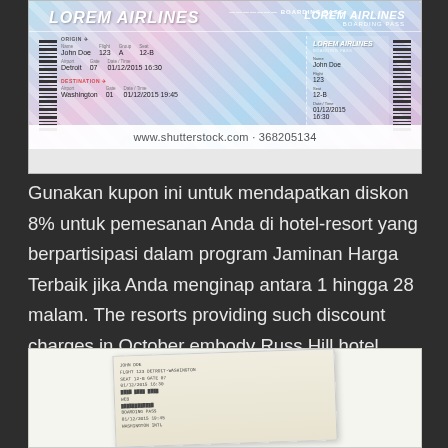[Figure (illustration): A boarding pass graphic for Lorem Airlines showing John Doe on a flight 123 from Detroit to Washington, with flight dates 01/12/2015, seat 12-B, and a right-side stub. Watermark: www.shutterstock.com · 368205134]
Gunakan kupon ini untuk mendapatkan diskon 8% untuk pemesanan Anda di hotel-resort yang berpartisipasi dalam program Jaminan Harga Terbaik jika Anda menginap antara 1 hingga 28 malam. The resorts providing such discount charges in October embody Russ Hill hotel, Central Park, King Solomon and so on.
[Figure (photo): A photo of a crumpled or folded receipt/ticket paper with printed text visible.]